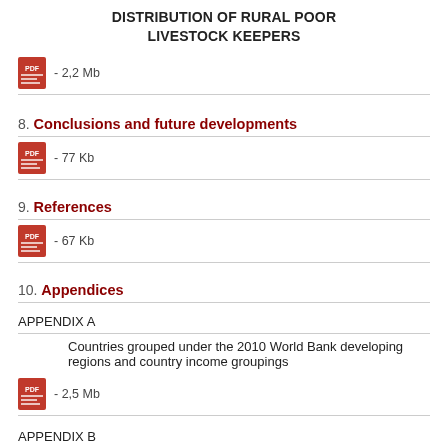DISTRIBUTION OF RURAL POOR LIVESTOCK KEEPERS
- 2,2 Mb
8. Conclusions and future developments
- 77 Kb
9. References
- 67 Kb
10. Appendices
APPENDIX A
Countries grouped under the 2010 World Bank developing regions and country income groupings
- 2,5 Mb
APPENDIX B
Livestock production systems and estimated numbers of rural poor livestock keepers in the